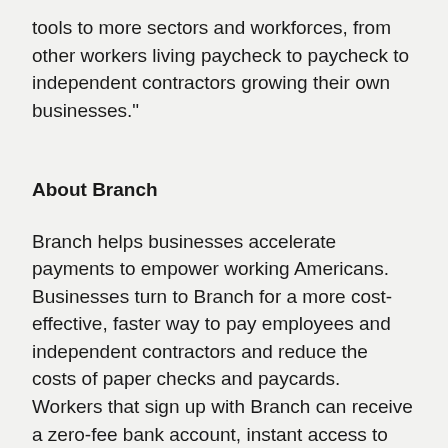tools to more sectors and workforces, from other workers living paycheck to paycheck to independent contractors growing their own businesses."
About Branch
Branch helps businesses accelerate payments to empower working Americans. Businesses turn to Branch for a more cost-effective, faster way to pay employees and independent contractors and reduce the costs of paper checks and paycards. Workers that sign up with Branch can receive a zero-fee bank account, instant access to earned wages, and personal finance tools to help them manage their cash flow between paychecks. Branch partners with some of the nation’s leading payroll and workforce technologies to support companies in retail, restaurant, logistics, manufacturing, and healthcare. To learn more